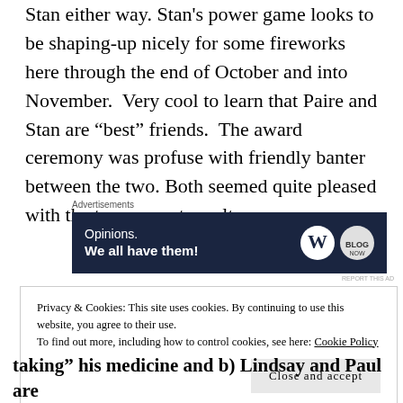Stan either way. Stan's power game looks to be shaping-up nicely for some fireworks here through the end of October and into November. Very cool to learn that Paire and Stan are “best” friends. The award ceremony was profuse with friendly banter between the two. Both seemed quite pleased with the tournament results.
[Figure (other): Advertisement banner: dark navy background with 'Opinions. We all have them!' text and WordPress and Blog logos on the right.]
Privacy & Cookies: This site uses cookies. By continuing to use this website, you agree to their use.
To find out more, including how to control cookies, see here: Cookie Policy
taking his medicine and b) Lindsay and Paul are